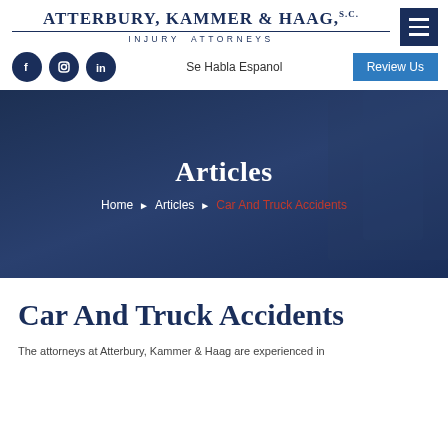Atterbury, Kammer & Haag, S.C. — Injury Attorneys
[Figure (logo): Atterbury, Kammer & Haag, S.C. Injury Attorneys law firm logo with hamburger menu icon and social media icons (Facebook, Instagram, LinkedIn), Se Habla Espanol text, and Review Us button]
Articles
Home ▶ Articles ▶ Car And Truck Accidents
Car And Truck Accidents